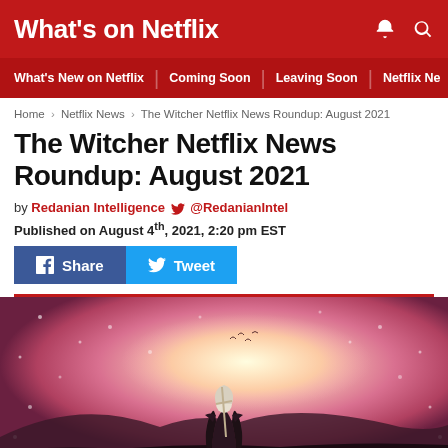What's on Netflix
What's New on Netflix | Coming Soon | Leaving Soon | Netflix Ne
Home › Netflix News › The Witcher Netflix News Roundup: August 2021
The Witcher Netflix News Roundup: August 2021
by Redanian Intelligence 🐦 @RedanianIntel
Published on August 4th, 2021, 2:20 pm EST
[Figure (screenshot): Share and Tweet social media buttons (Facebook Share in blue, Twitter Tweet in light blue)]
[Figure (illustration): Fantasy illustration of a white-haired warrior figure seen from behind, standing in a snowy, windy landscape with a glowing pink/red sky and birds in the background — promotional art for The Witcher Netflix series]